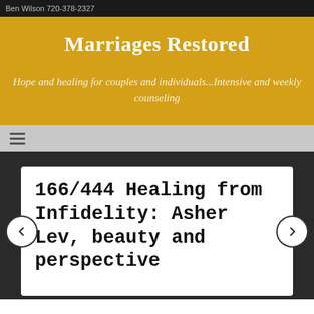Ben Wilson 720-378-2327
Marriages Restored
Hope and healing for couples and individuals...Intensive and weekly counseling
≡
166/444 Healing from Infidelity: Asher Lev, beauty and perspective